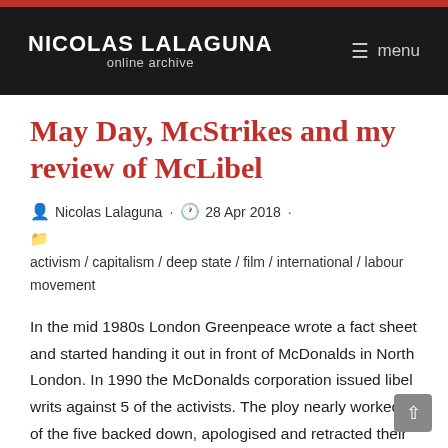NICOLAS LALAGUNA online archive / menu
May Day, McStrikes and my review of McLibel
Nicolas Lalaguna · 28 Apr 2018 · activism / capitalism / deep state / film / international / labour movement
In the mid 1980s London Greenpeace wrote a fact sheet and started handing it out in front of McDonalds in North London. In 1990 the McDonalds corporation issued libel writs against 5 of the activists. The ploy nearly worked. 3 of the five backed down, apologised and retracted their claims. Two of them didn't. Helen